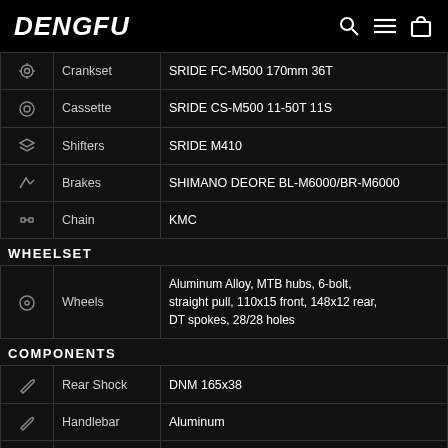DENGFU
| icon | Component | Spec |
| --- | --- | --- |
|  | Crankset | SRIDE FC-M500 170mm 36T |
|  | Cassette | SRIDE CS-M500 11-50T 11S |
|  | Shifters | SRIDE M410 |
|  | Brakes | SHIMANO DEORE BL-M6000/BR-M6000 |
|  | Chain | KMC |
WHEELSET
| icon | Component | Spec |
| --- | --- | --- |
|  | Wheels | Aluminum Alloy, MTB hubs, 6-bolt, straight pull, 110x15 front, 148x12 rear, DT spokes, 28/28 holes |
COMPONENTS
| icon | Component | Spec |
| --- | --- | --- |
|  | Rear Shock | DNM  165x38 |
|  | Handlebar | Aluminum |
|  | Stem | Aluminum |